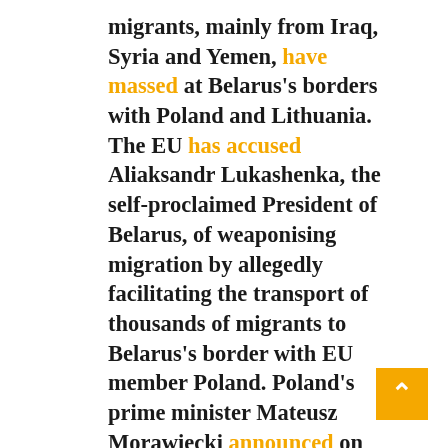migrants, mainly from Iraq, Syria and Yemen, have massed at Belarus's borders with Poland and Lithuania. The EU has accused Aliaksandr Lukashenka, the self-proclaimed President of Belarus, of weaponising migration by allegedly facilitating the transport of thousands of migrants to Belarus's border with EU member Poland. Poland's prime minister Mateusz Morawiecki announced on September 20 that Poland had mounting evidence that Belarus, with Russian backing, is orchestrating the wave of migrants to overwhelm Poland's borders.

Lukashenka denied the allegation that he has been driving the crisis, and